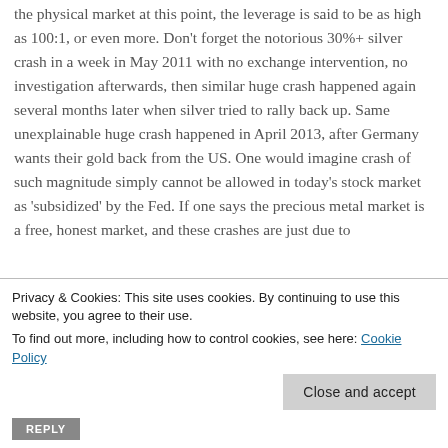the physical market at this point, the leverage is said to be as high as 100:1, or even more. Don't forget the notorious 30%+ silver crash in a week in May 2011 with no exchange intervention, no investigation afterwards, then similar huge crash happened again several months later when silver tried to rally back up. Same unexplainable huge crash happened in April 2013, after Germany wants their gold back from the US. One would imagine crash of such magnitude simply cannot be allowed in today's stock market as 'subsidized' by the Fed. If one says the precious metal market is a free, honest market, and these crashes are just due to
Privacy & Cookies: This site uses cookies. By continuing to use this website, you agree to their use.
To find out more, including how to control cookies, see here: Cookie Policy
Close and accept
REPLY